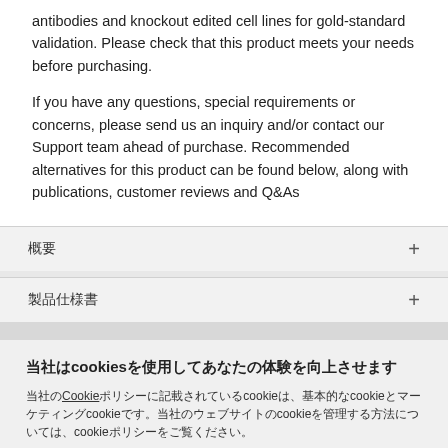antibodies and knockout edited cell lines for gold-standard validation. Please check that this product meets your needs before purchasing.
If you have any questions, special requirements or concerns, please send us an inquiry and/or contact our Support team ahead of purchase. Recommended alternatives for this product can be found below, along with publications, customer reviews and Q&As
概要
製品仕様書
当社のCookieポリシーに記載されているcookieは、基本的なcookieとマーケティングcookieです。当社のウェブサイトのcookieを管理する方法については、cookieポリシーをご覧ください。
同意